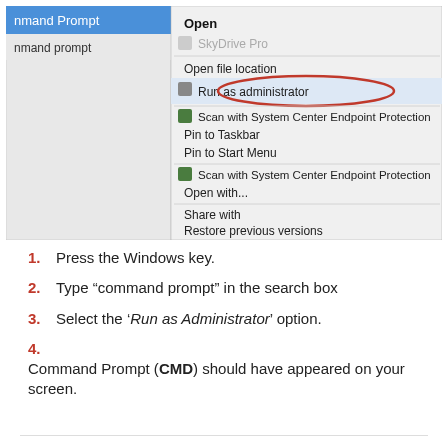[Figure (screenshot): Windows context menu showing options including Open, SkyDrive Pro (greyed), Open file location, Run as administrator (circled in red), Scan with System Center Endpoint Protection, Pin to Taskbar, Pin to Start Menu, Scan with System Center Endpoint Protection, Open with..., Share with, Restore previous versions. Left side shows partial search results panel with 'nmand Prompt' and 'nmand prompt' entries.]
Press the Windows key.
Type “command prompt” in the search box
Select the ‘Run as Administrator’ option.
Command Prompt (CMD) should have appeared on your screen.